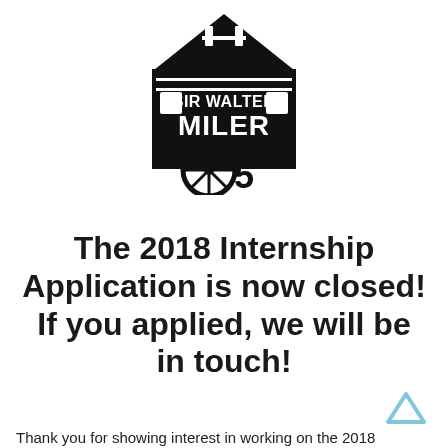[Figure (logo): Sir Walter Miler 5 logo — black silhouette of a barn/house with windows, text 'SIR WALTER MILER' inside, and a wagon wheel with number 5 below]
The 2018 Internship Application is now closed! If you applied, we will be in touch!
Thank you for showing interest in working on the 2018